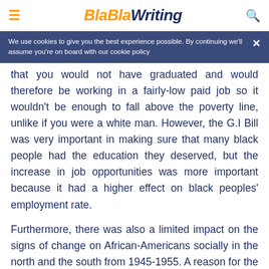BlaBlaWriting
We use cookies to give you the best experience possible. By continuing we'll assume you're on board with our cookie policy
that you would not have graduated and would therefore be working in a fairly-low paid job so it wouldn't be enough to fall above the poverty line, unlike if you were a white man. However, the G.I Bill was very important in making sure that many black people had the education they deserved, but the increase in job opportunities was more important because it had a higher effect on black peoples' employment rate.
Furthermore, there was also a limited impact on the signs of change on African-Americans socially in the north and the south from 1945-1955. A reason for the social limitation of change in the South was because of education. 25% of U.S. population and 8 % of the African American